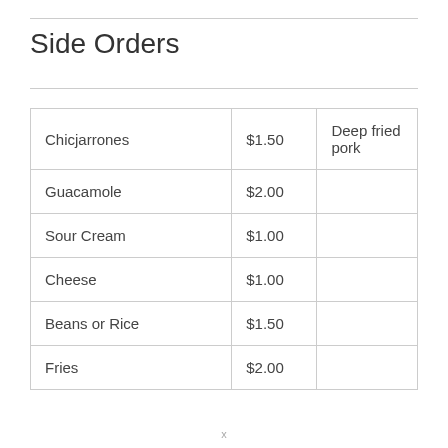Side Orders
| Chicjarrones | $1.50 | Deep fried pork |
| Guacamole | $2.00 |  |
| Sour Cream | $1.00 |  |
| Cheese | $1.00 |  |
| Beans or Rice | $1.50 |  |
| Fries | $2.00 |  |